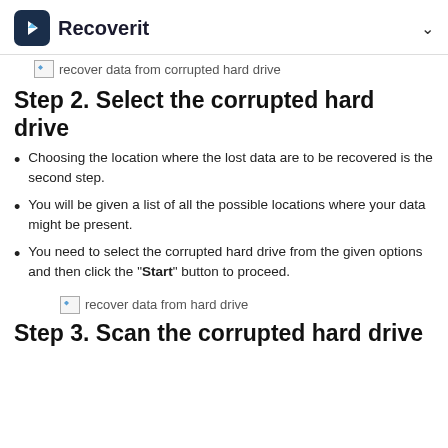Recoverit
[Figure (photo): Broken image placeholder with alt text: recover data from corrupted hard drive]
Step 2. Select the corrupted hard drive
Choosing the location where the lost data are to be recovered is the second step.
You will be given a list of all the possible locations where your data might be present.
You need to select the corrupted hard drive from the given options and then click the "Start" button to proceed.
[Figure (photo): Broken image placeholder with alt text: recover data from hard drive]
Step 3. Scan the corrupted hard drive